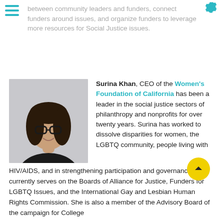[hamburger menu icon] [gear/settings icon]
between community leaders and funders, connect funders around issues, and organize funders to leverage more resources for Social Justice issues.
[Figure (photo): Headshot photo of Surina Khan, a woman with dark hair and glasses, smiling, against a light grey background.]
Surina Khan, CEO of the Women's Foundation of California has been a leader in the social justice sectors of philanthropy and nonprofits for over twenty years. Surina has worked to dissolve disparities for women, the LGBTQ community, people living with HIV/AIDS, and in strengthening participation and governance. She currently serves on the Boards of Alliance for Justice, Funders for LGBTQ Issues, and the International Gay and Lesbian Human Rights Commission. She is also a member of the Advisory Board of the campaign for College